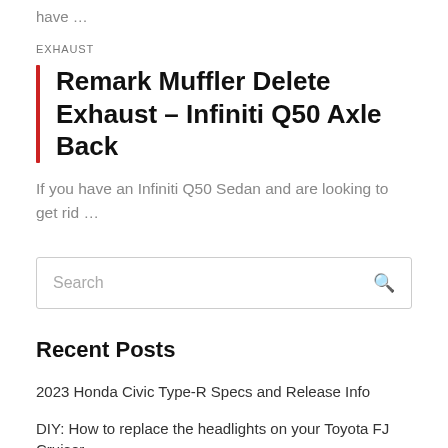have …
EXHAUST
Remark Muffler Delete Exhaust – Infiniti Q50 Axle Back
If you have an Infiniti Q50 Sedan and are looking to get rid …
Search
Recent Posts
2023 Honda Civic Type-R Specs and Release Info
DIY: How to replace the headlights on your Toyota FJ Cruiser